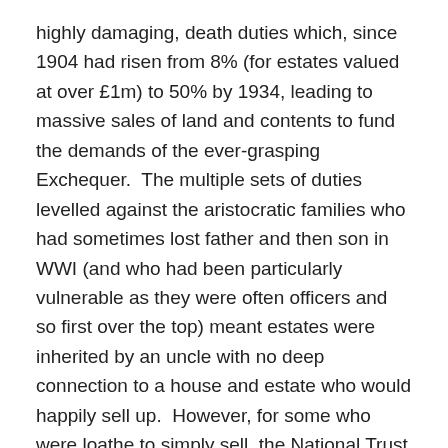highly damaging, death duties which, since 1904 had risen from 8% (for estates valued at over £1m) to 50% by 1934, leading to massive sales of land and contents to fund the demands of the ever-grasping Exchequer.  The multiple sets of duties levelled against the aristocratic families who had sometimes lost father and then son in WWI (and who had been particularly vulnerable as they were often officers and so first over the top) meant estates were inherited by an uncle with no deep connection to a house and estate who would happily sell up.  However, for some who were loathe to simply sell, the National Trust seemed to offer an attractive alternative where someone else would pay the maintenance bills whilst they were still able to live in the house.
The degree to which the family remained in the house was sometimes simply down to how well the family had